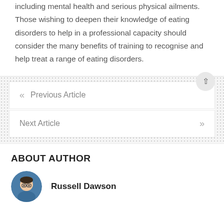including mental health and serious physical ailments. Those wishing to deepen their knowledge of eating disorders to help in a professional capacity should consider the many benefits of training to recognise and help treat a range of eating disorders.
« Previous Article
Next Article »
ABOUT AUTHOR
Russell Dawson